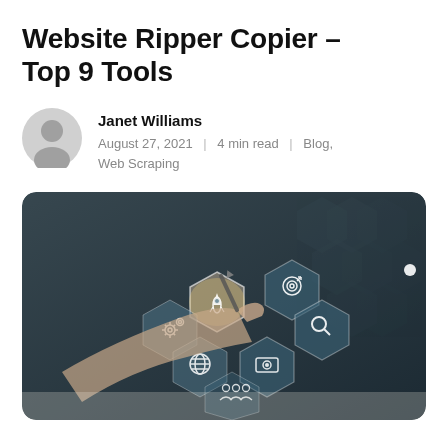Website Ripper Copier – Top 9 Tools
Janet Williams
August 27, 2021 | 4 min read | Blog, Web Scraping
[Figure (photo): Person pointing at digital hexagonal UI icons including gears, globe, rocket, target, search, money, people symbols on a dark tech background]